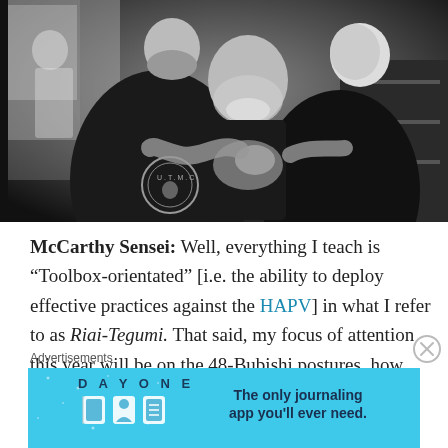[Figure (photo): Black and white photo of martial arts training. An older man with white beard in a black shirt grappling/demonstrating technique with two younger men in black shirts, one with UTMC logo on back. Indoor gym setting.]
McCarthy Sensei: Well, everything I teach is “Toolbox-orientated” [i.e. the ability to deploy effective practices against the HAPV] in what I refer to as Riai-Tegumi. That said, my focus of attention this year will be on the 48-Bubishi postures, how they are used against the HAPV,
Advertisements
[Figure (screenshot): Day One journaling app advertisement banner. Blue background with app icon illustrations and text: 'The only journaling app you'll ever need.']